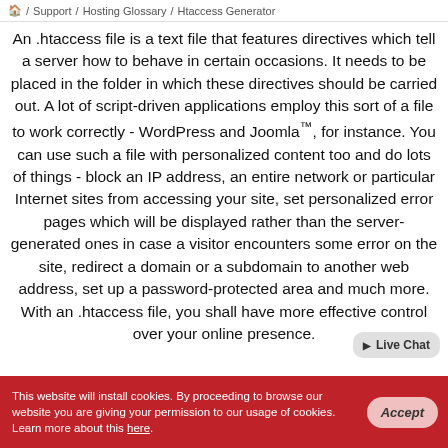🏠 / Support / Hosting Glossary / Htaccess Generator
An .htaccess file is a text file that features directives which tell a server how to behave in certain occasions. It needs to be placed in the folder in which these directives should be carried out. A lot of script-driven applications employ this sort of a file to work correctly - WordPress and Joomla™, for instance. You can use such a file with personalized content too and do lots of things - block an IP address, an entire network or particular Internet sites from accessing your site, set personalized error pages which will be displayed rather than the server-generated ones in case a visitor encounters some error on the site, redirect a domain or a subdomain to another web address, set up a password-protected area and much more. With an .htaccess file, you shall have more effective control over your online presence.
This website will install cookies. By proceeding to browse our website you are giving your permission to our usage of cookies. Learn more about this here.